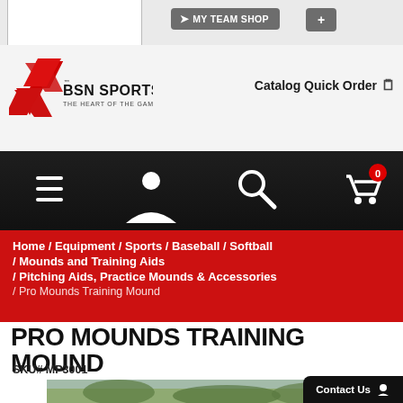[Figure (screenshot): BSN Sports website screenshot showing navigation bar with My Team Shop button, BSN Sports logo with red arrow mark, Catalog Quick Order link, dark navigation bar with menu/user/search/cart icons, red breadcrumb trail, product title PRO MOUNDS TRAINING MOUND, SKU# MP3001, and partial product image.]
MY TEAM SHOP  +
[Figure (logo): BSN Sports logo with red angular arrow/chevron mark, bold text BSN SPORTS and tagline THE HEART OF THE GAME]
Catalog Quick Order
[Figure (infographic): Dark navigation bar with hamburger menu icon, user/person icon, search/magnifying glass icon, and shopping cart icon with red badge showing 0]
Home / Equipment / Sports / Baseball / Softball / Mounds and Training Aids / Pitching Aids, Practice Mounds & Accessories / Pro Mounds Training Mound
PRO MOUNDS TRAINING MOUND
SKU# MP3001
[Figure (photo): Partial product image showing outdoor scene with trees, a person and what appears to be training equipment]
Contact Us